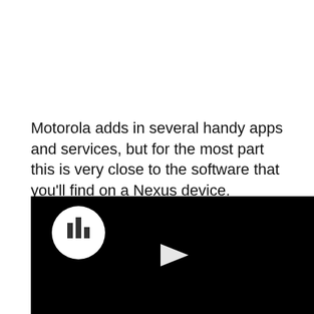Motorola adds in several handy apps and services, but for the most part this is very close to the software that you'll find on a Nexus device.
[Figure (screenshot): A video player with a black background. A white circular logo/icon with a bar chart symbol is visible in the upper left corner. A white play button triangle is centered in the middle of the player.]